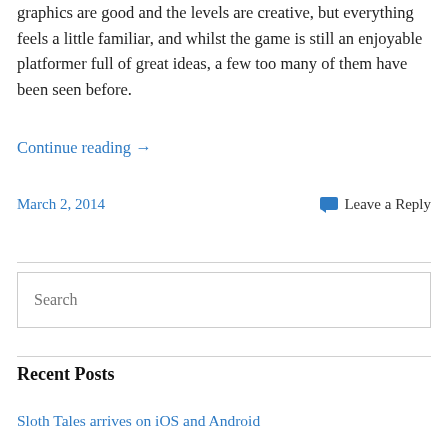graphics are good and the levels are creative, but everything feels a little familiar, and whilst the game is still an enjoyable platformer full of great ideas, a few too many of them have been seen before.
Continue reading →
March 2, 2014
Leave a Reply
Search
Recent Posts
Sloth Tales arrives on iOS and Android